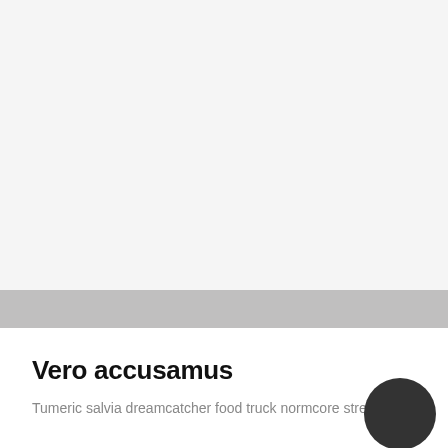[Figure (illustration): Light gray background area occupying the upper portion of the page, with a horizontal silver/light gray band near the bottom of that area.]
Vero accusamus
Tumeric salvia dreamcatcher food truck normcore street ...